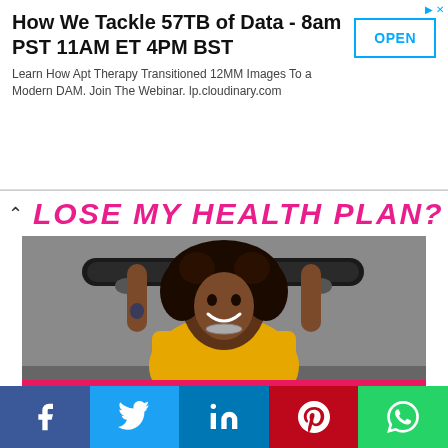[Figure (screenshot): Advertisement banner: 'How We Tackle 57TB of Data - 8am PST 11AM ET 4PM BST' with OPEN button and subtitle about Apt Therapy and lp.cloudinary.com]
LOSE MY HEALTH PLAN?
[Figure (photo): Young woman with curly hair holding a skateboard above her head, wearing a yellow t-shirt, smiling. HealthCare.gov branding at bottom with LEARN MORE button.]
This website uses cookies to improve your experience. We'll assume you're ok with this, but you can opt-out if you wish.
[Figure (screenshot): Social media share buttons: Facebook (blue), Twitter (light blue), LinkedIn (dark blue), Pinterest (red), WhatsApp (green)]